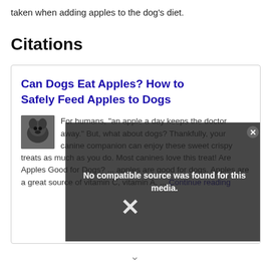taken when adding apples to the dog's diet.
Citations
[Figure (screenshot): A citation card showing an article titled 'Can Dogs Eat Apples? How to Safely Feed Apples to Dogs' with a thumbnail image of a dog, article preview text, and a video overlay showing 'No compatible source was found for this media.' with an X close button.]
For humans, "an apple a day keeps the doctor away." But, what about dogs? Thankfully, your canine companion can enjoy these sweet crispy treats as much as you do. Most canines love this treat! Are Apples Good for Dogs? ... apples are good for dogs. Apples are a great source of vitamin C, vitamin A, ... Continue reading